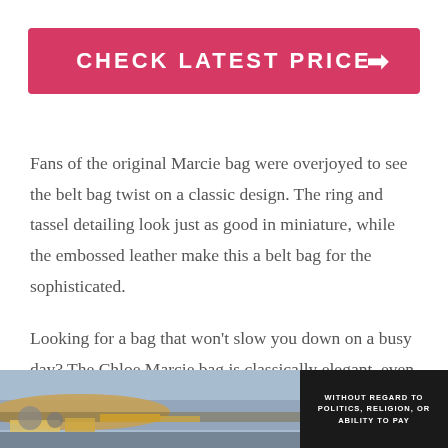CHECK LATEST PRICE →
Fans of the original Marcie bag were overjoyed to see the belt bag twist on a classic design. The ring and tassel detailing look just as good in miniature, while the embossed leather make this a belt bag for the sophisticated.
Looking for a bag that won't slow you down on a busy day? The Chloe Marcie bag is classically elegant, even when balancing on your waist
[Figure (photo): Advertisement banner showing an airplane being loaded with cargo, with text 'WITHOUT REGARD TO POLITICS, RELIGION, OR ABILITY TO PAY' on a dark background to the right.]